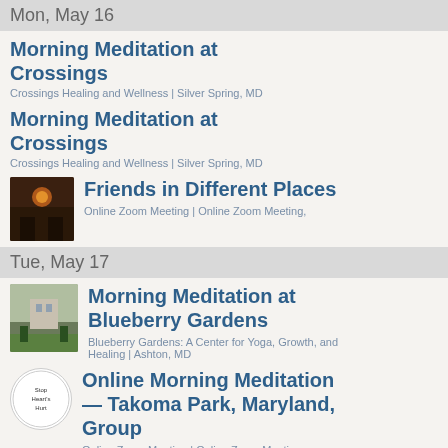Mon, May 16
Morning Meditation at Crossings
Crossings Healing and Wellness | Silver Spring, MD
Morning Meditation at Crossings
Crossings Healing and Wellness | Silver Spring, MD
Friends in Different Places
Online Zoom Meeting | Online Zoom Meeting,
Tue, May 17
Morning Meditation at Blueberry Gardens
Blueberry Gardens: A Center for Yoga, Growth, and Healing | Ashton, MD
Online Morning Meditation — Takoma Park, Maryland, Group
Online Zoom Meeting | Online Zoom Meeting,